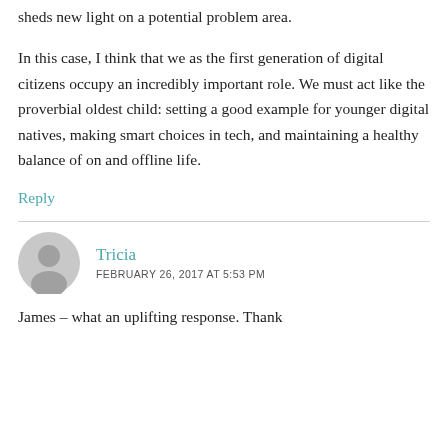sheds new light on a potential problem area.
In this case, I think that we as the first generation of digital citizens occupy an incredibly important role. We must act like the proverbial oldest child: setting a good example for younger digital natives, making smart choices in tech, and maintaining a healthy balance of on and offline life.
Reply
Tricia
FEBRUARY 26, 2017 AT 5:53 PM
James – what an uplifting response. Thank